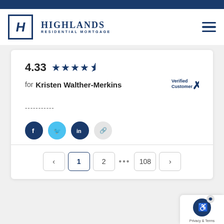[Figure (logo): Highlands Residential Mortgage logo with stylized H icon and company name]
4.33 ★★★★½ for Kristen Walther-Merkins
[Figure (logo): Verified Customer badge with X checkmark]
-----------
[Figure (infographic): Social share buttons: Facebook, Twitter, LinkedIn, and link copy icons]
< 1 2 ... 108 >